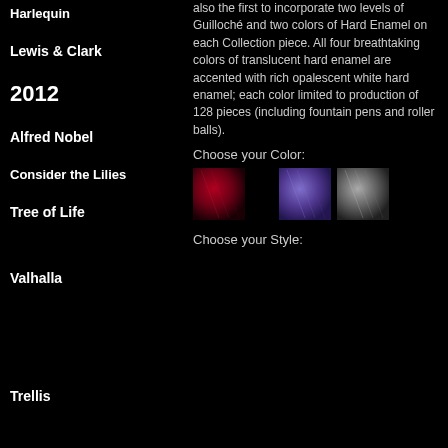Harlequin
Lewis & Clark
2012
Alfred Nobel
Consider the Lilies
Tree of Life
Valhalla
Trellis
also the first to incorporate two levels of Guilloché and two colors of Hard Enamel on each Collection piece. All four breathtaking colors of translucent hard enamel are accented with rich opalescent white hard enamel; each color limited to production of 128 pieces (including fountain pens and roller balls).
Choose your Color:
[Figure (photo): Three color swatches: dark red/crimson, purple/violet, and grey/silver textured enamel samples]
Choose your Style: